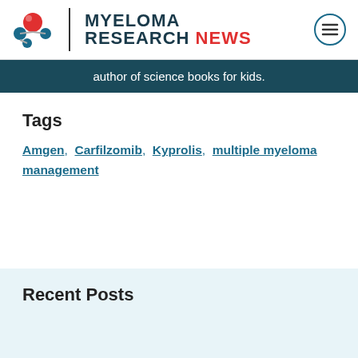MYELOMA RESEARCH NEWS
author of science books for kids.
Tags
Amgen, Carfilzomib, Kyprolis, multiple myeloma management
Recent Posts